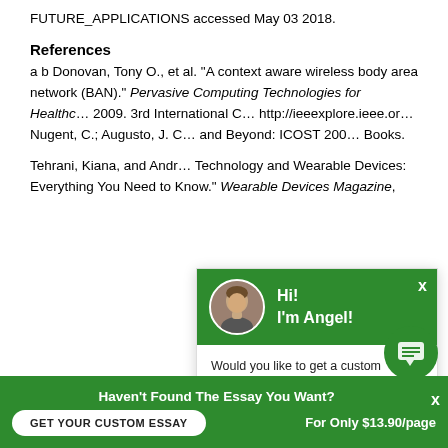FUTURE_APPLICATIONS accessed May 03 2018.
References
a b Donovan, Tony O., et al. “A context aware wireless body area network (BAN).” Pervasive Computing Technologies for Healthcare 2009. 3rd International Conference. http://ieeexplore.ieee.or… Nugent, C.; Augusto, J. C… and Beyond: ICOST 200… Books.
Tehrani, Kiana, and Andr… Technology and Wearable Devices: Everything You Need to Know.” Wearable Devices Magazine,
[Figure (other): Chat popup overlay with green header showing avatar of a man named Angel, greeting 'Hi! I'm Angel!', with message 'Would you like to get a custom essay? How about receiving a customized one?' and a 'Check it out' link]
Haven't Found The Essay You Want?
GET YOUR CUSTOM ESSAY
For Only $13.90/page